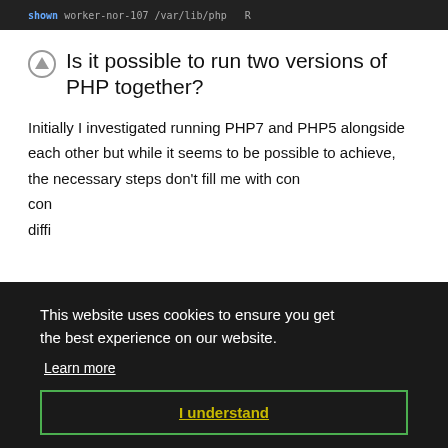shown worker-nor-107 /var/lib/php ...
Is it possible to run two versions of PHP together?
Initially I investigated running PHP7 and PHP5 alongside each other but while it seems to be possible to achieve, the necessary steps don't fill me with con... con... diffi...
Con...
R...
Start the discussion
This website uses cookies to ensure you get the best experience on our website.
Learn more
I understand